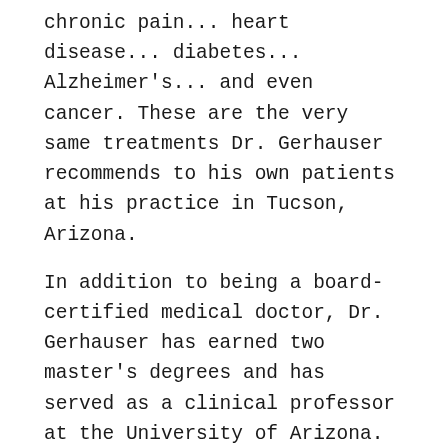chronic pain... heart disease... diabetes... Alzheimer's... and even cancer. These are the very same treatments Dr. Gerhauser recommends to his own patients at his practice in Tucson, Arizona.
In addition to being a board-certified medical doctor, Dr. Gerhauser has earned two master's degrees and has served as a clinical professor at the University of Arizona.
And as a physician at the world-famous Canyon Ranch, Dr. Gerhauser treated celebrities from around the world who paid dearly for the type of next-generation